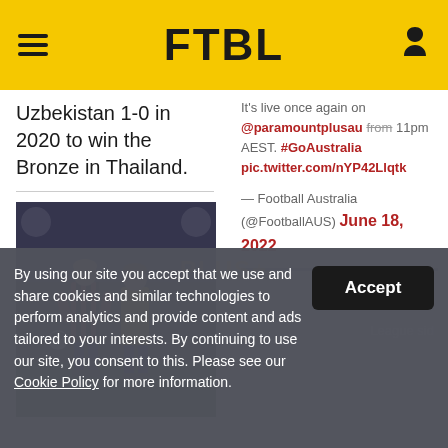FTBL
Uzbekistan 1-0 in 2020 to win the Bronze in Thailand.
[Figure (photo): Two soccer players running during a match, one in red/black striped jersey, one in yellow jersey]
It's live once again on @paramountplusau from 11pm AEST. #GoAustralia pic.twitter.com/nYP42Llqtk
— Football Australia (@FootballAUS) June 18, 2022
By using our site you accept that we use and share cookies and similar technologies to perform analytics and provide content and ads tailored to your interests. By continuing to use our site, you consent to this. Please see our Cookie Policy for more information.